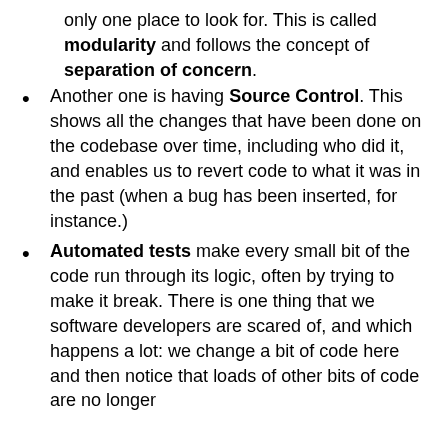only one place to look for. This is called modularity and follows the concept of separation of concern.
Another one is having Source Control. This shows all the changes that have been done on the codebase over time, including who did it, and enables us to revert code to what it was in the past (when a bug has been inserted, for instance.)
Automated tests make every small bit of the code run through its logic, often by trying to make it break. There is one thing that we software developers are scared of, and which happens a lot: we change a bit of code here and then notice that loads of other bits of code are no longer